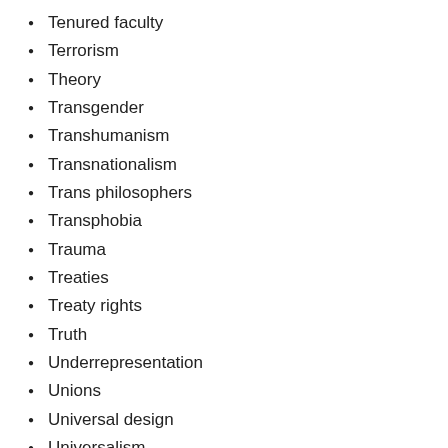Tenured faculty
Terrorism
Theory
Transgender
Transhumanism
Transnationalism
Trans philosophers
Transphobia
Trauma
Treaties
Treaty rights
Truth
Underrepresentation
Unions
Universal design
Universalism
Universities and colleges
Untenured faculty